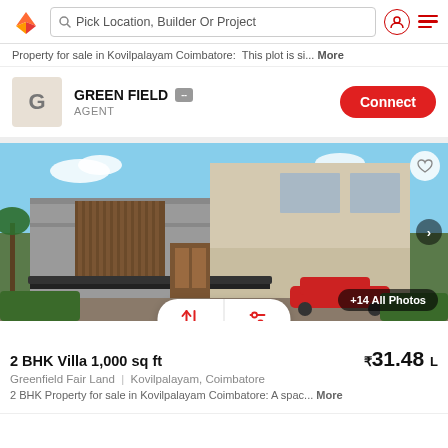Pick Location, Builder Or Project
Property for sale in Kovilpalayam Coimbatore: This plot is si... More
GREEN FIELD · AGENT · Connect
[Figure (photo): Modern 2-storey villa with concrete and wood facade, carport, surrounded by tropical greenery]
2 BHK Villa 1,000 sq ft · ₹31.48 L
Greenfield Fair Land | Kovilpalayam, Coimbatore
2 BHK Property for sale in Kovilpalayam Coimbatore: A spac... More